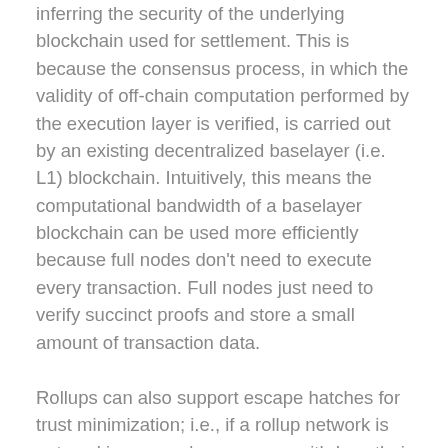inferring the security of the underlying blockchain used for settlement. This is because the consensus process, in which the validity of off-chain computation performed by the execution layer is verified, is carried out by an existing decentralized baselayer (i.e. L1) blockchain. Intuitively, this means the computational bandwidth of a baselayer blockchain can be used more efficiently because full nodes don't need to execute every transaction. Full nodes just need to verify succinct proofs and store a small amount of transaction data.
Rollups can also support escape hatches for trust minimization; i.e., if a rollup network is not working properly, users can withdraw their crypto and submit it to the baselayer blockchain. Many modular networks can also amortize user costs; i.e., there are fixed costs for verifying the proof of a zk-rollup on the baselayer blockchain, meaning consensus costs can